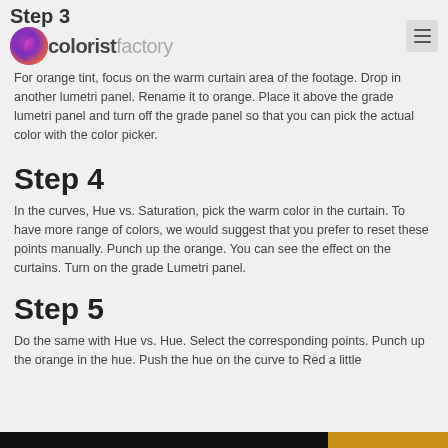Step 3 — coloristfactory
For orange tint, focus on the warm curtain area of the footage. Drop in another lumetri panel. Rename it to orange. Place it above the grade lumetri panel and turn off the grade panel so that you can pick the actual color with the color picker.
Step 4
In the curves, Hue vs. Saturation, pick the warm color in the curtain. To have more range of colors, we would suggest that you prefer to reset these points manually. Punch up the orange. You can see the effect on the curtains. Turn on the grade Lumetri panel.
Step 5
Do the same with Hue vs. Hue. Select the corresponding points. Punch up the orange in the hue. Push the hue on the curve to Red a little